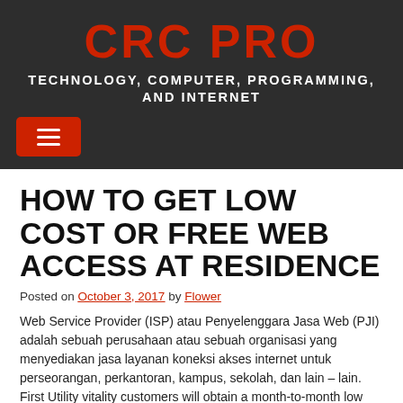CRC PRO
TECHNOLOGY, COMPUTER, PROGRAMMING, AND INTERNET
☰ menu button
HOW TO GET LOW COST OR FREE WEB ACCESS AT RESIDENCE
Posted on October 3, 2017 by Flower
Web Service Provider (ISP) atau Penyelenggara Jasa Web (PJI) adalah sebuah perusahaan atau sebuah organisasi yang menyediakan jasa layanan koneksi akses internet untuk perseorangan, perkantoran, kampus, sekolah, dan lain – lain. First Utility vitality customers will obtain a month-to-month low cost of £0.50. It is important that Canadians can hook up with